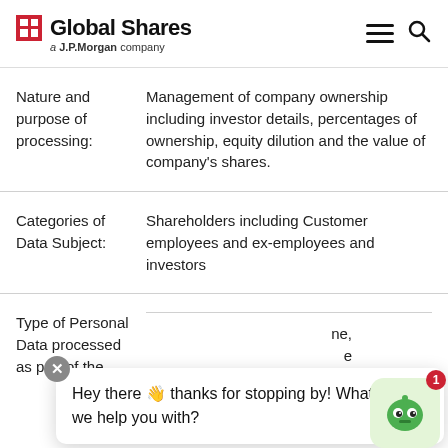Global Shares — a J.P.Morgan company
| Field | Value |
| --- | --- |
| Nature and purpose of processing: | Management of company ownership including investor details, percentages of ownership, equity dilution and the value of company's shares. |
| Categories of Data Subject: | Shareholders including Customer employees and ex-employees and investors |
| Type of Personal Data processed as part of the | ...and passport |
Hey there 👋 thanks for stopping by! What can we help you with?